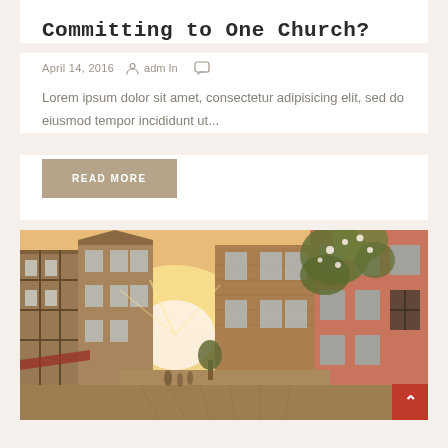Committing to One Church?
April 14, 2016   adm In
Lorem ipsum dolor sit amet, consectetur adipisicing elit, sed do eiusmod tempor incididunt ut...
READ MORE
[Figure (photo): A warm-toned street scene of a European cobblestone alley with historic stone and timber-framed buildings, flowering vines on the right building facade, and a bright sun flare at the end of the street with pedestrians in the distance.]